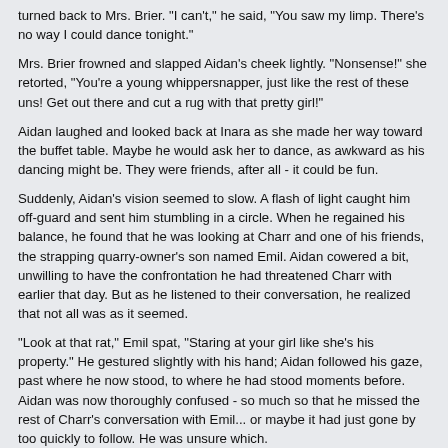turned back to Mrs. Brier. "I can't," he said, "You saw my limp. There's no way I could dance tonight."
Mrs. Brier frowned and slapped Aidan's cheek lightly. "Nonsense!" she retorted, "You're a young whippersnapper, just like the rest of these uns! Get out there and cut a rug with that pretty girl!"
Aidan laughed and looked back at Inara as she made her way toward the buffet table. Maybe he would ask her to dance, as awkward as his dancing might be. They were friends, after all - it could be fun.
Suddenly, Aidan's vision seemed to slow. A flash of light caught him off-guard and sent him stumbling in a circle. When he regained his balance, he found that he was looking at Charr and one of his friends, the strapping quarry-owner's son named Emil. Aidan cowered a bit, unwilling to have the confrontation he had threatened Charr with earlier that day. But as he listened to their conversation, he realized that not all was as it seemed.
"Look at that rat," Emil spat, "Staring at your girl like she's his property." He gestured slightly with his hand; Aidan followed his gaze, past where he now stood, to where he had stood moments before. Aidan was now thoroughly confused - so much so that he missed the rest of Charr's conversation with Emil... or maybe it had just gone by too quickly to follow. He was unsure which.